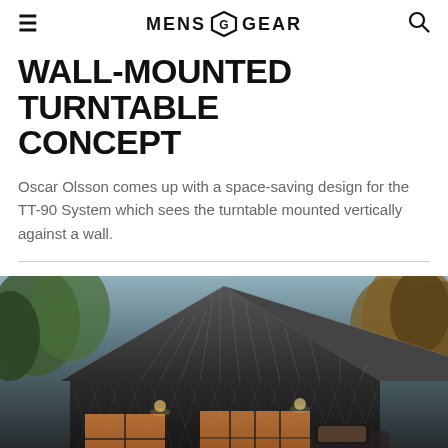MENS GEAR
WALL-MOUNTED TURNTABLE CONCEPT
Oscar Olsson comes up with a space-saving design for the TT-90 System which sees the turntable mounted vertically against a wall.
[Figure (photo): Exterior photo of a dark barn-style building with a steep angular metal roof, surrounded by autumn trees, with warm light visible through large windows at dusk.]